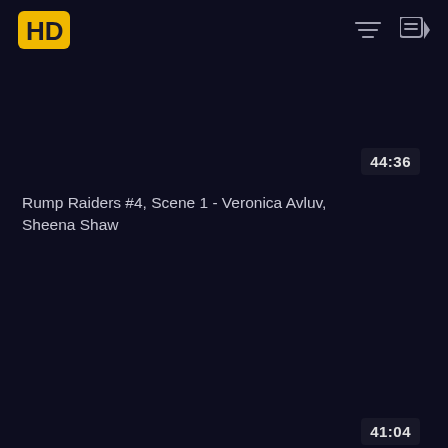HD logo, filter icon, playlist icon
44:36
Rump Raiders #4, Scene 1 - Veronica Avluv, Sheena Shaw
41:04